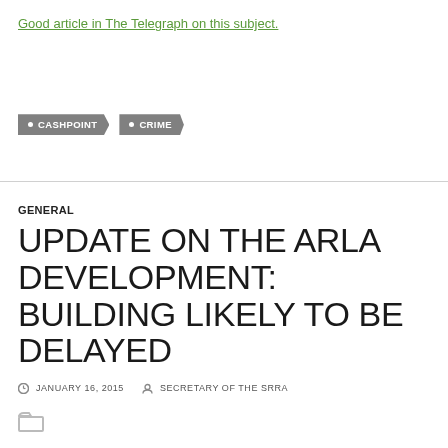Good article in The Telegraph on this subject.
CASHPOINT
CRIME
GENERAL
UPDATE ON THE ARLA DEVELOPMENT: BUILDING LIKELY TO BE DELAYED
JANUARY 16, 2015   SECRETARY OF THE SRRA